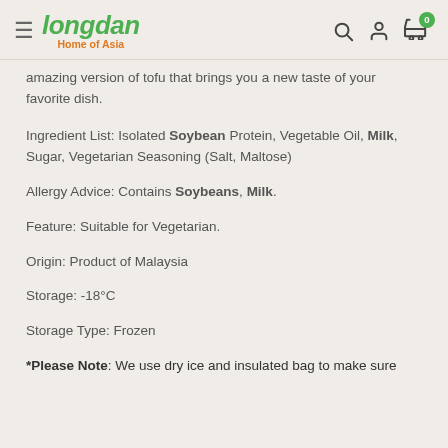Longdan Home of Asia
amazing version of tofu that brings you a new taste of your favorite dish.
Ingredient List: Isolated Soybean Protein, Vegetable Oil, Milk, Sugar, Vegetarian Seasoning (Salt, Maltose)
Allergy Advice: Contains Soybeans, Milk.
Feature: Suitable for Vegetarian.
Origin: Product of Malaysia
Storage: -18°C
Storage Type: Frozen
*Please Note: We use dry ice and insulated bag to make sure